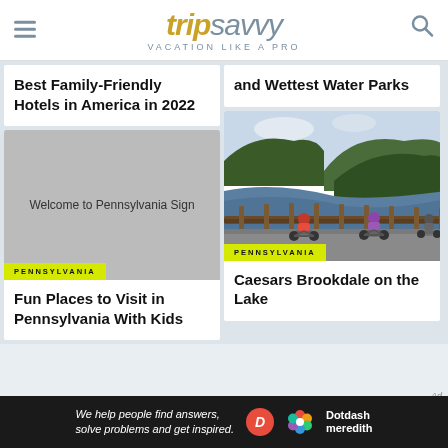tripsavvy VACATION LIKE A PRO
Best Family-Friendly Hotels in America in 2022
and Wettest Water Parks
[Figure (photo): Welcome to Pennsylvania Sign - image placeholder (grey box)]
PENNSYLVANIA
Fun Places to Visit in Pennsylvania With Kids
[Figure (photo): Cyclists riding along a bridge railing over a river with forested hills in the background, Pennsylvania scenery]
PENNSYLVANIA
Caesars Brookdale on the Lake
We help people find answers, solve problems and get inspired.
Dotdash meredith